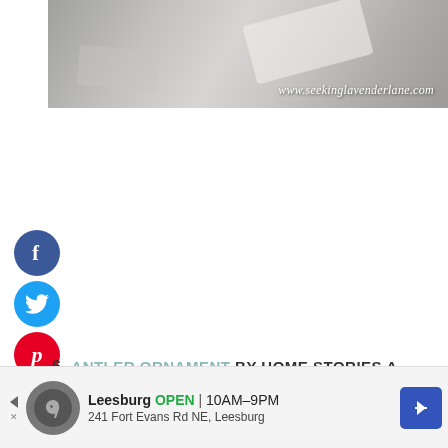[Figure (photo): Gray marble or stone texture photo with white watermark text reading www.seekinglavenderlane.com in italic script at bottom right]
[Figure (infographic): Social media sharing buttons: Facebook (dark blue circle with f), Twitter (cyan circle with bird), Pinterest (red circle with P)]
6. ANTLER ORNAMENT BY HOME STORIES A TO Z
[Figure (other): Advertisement banner: Leesburg OPEN 10AM-9PM, 241 Fort Evans Rd NE, Leesburg, with logo and navigation arrow]